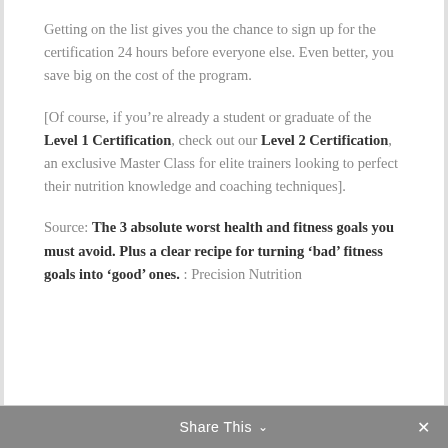Getting on the list gives you the chance to sign up for the certification 24 hours before everyone else. Even better, you save big on the cost of the program.
[Of course, if you're already a student or graduate of the Level 1 Certification, check out our Level 2 Certification, an exclusive Master Class for elite trainers looking to perfect their nutrition knowledge and coaching techniques].
Source: The 3 absolute worst health and fitness goals you must avoid. Plus a clear recipe for turning ‘bad’ fitness goals into ‘good’ ones. : Precision Nutrition
Share This ⌄  ×